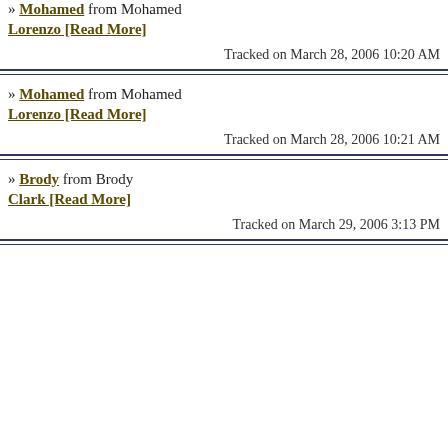» Mohamed from Mohamed Lorenzo [Read More]
Tracked on March 28, 2006 10:20 AM
» Mohamed from Mohamed Lorenzo [Read More]
Tracked on March 28, 2006 10:21 AM
» Brody from Brody Clark [Read More]
Tracked on March 29, 2006 3:13 PM